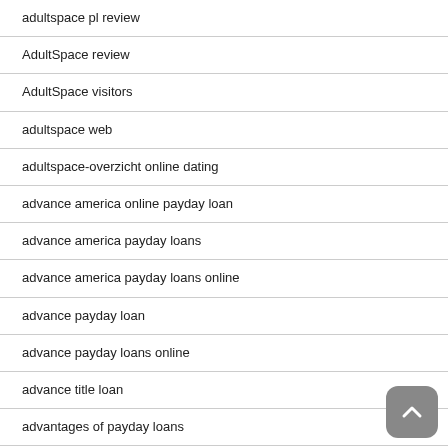adultspace pl review
AdultSpace review
AdultSpace visitors
adultspace web
adultspace-overzicht online dating
advance america online payday loan
advance america payday loans
advance america payday loans online
advance payday loan
advance payday loans online
advance title loan
advantages of payday loans
Adventist Dating